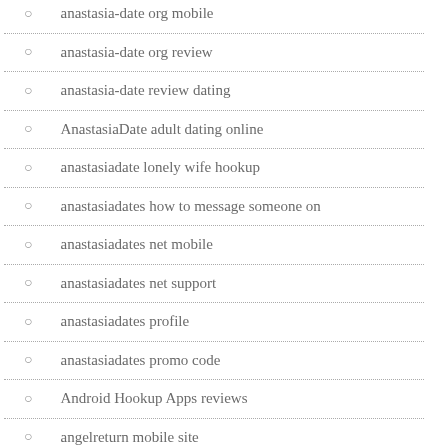anastasia-date org mobile
anastasia-date org review
anastasia-date review dating
AnastasiaDate adult dating online
anastasiadate lonely wife hookup
anastasiadates how to message someone on
anastasiadates net mobile
anastasiadates net support
anastasiadates profile
anastasiadates promo code
Android Hookup Apps reviews
angelreturn mobile site